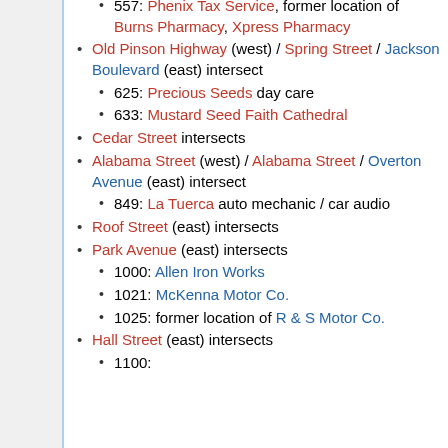557: Phenix Tax Service, former location of Burns Pharmacy, Xpress Pharmacy
Old Pinson Highway (west) / Spring Street / Jackson Boulevard (east) intersect
625: Precious Seeds day care
633: Mustard Seed Faith Cathedral
Cedar Street intersects
Alabama Street (west) / Alabama Street / Overton Avenue (east) intersect
849: La Tuerca auto mechanic / car audio
Roof Street (east) intersects
Park Avenue (east) intersects
1000: Allen Iron Works
1021: McKenna Motor Co.
1025: former location of R & S Motor Co.
Hall Street (east) intersects
1100: